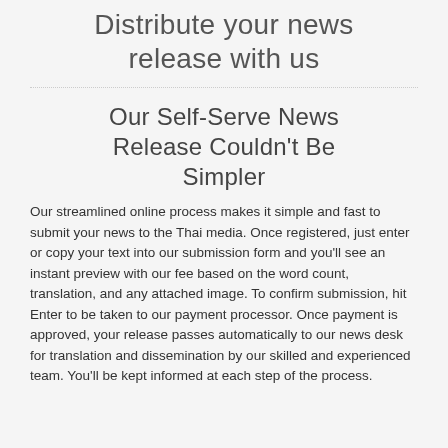Distribute your news release with us
Our Self-Serve News Release Couldn't Be Simpler
Our streamlined online process makes it simple and fast to submit your news to the Thai media. Once registered, just enter or copy your text into our submission form and you'll see an instant preview with our fee based on the word count, translation, and any attached image. To confirm submission, hit Enter to be taken to our payment processor. Once payment is approved, your release passes automatically to our news desk for translation and dissemination by our skilled and experienced team. You'll be kept informed at each step of the process.